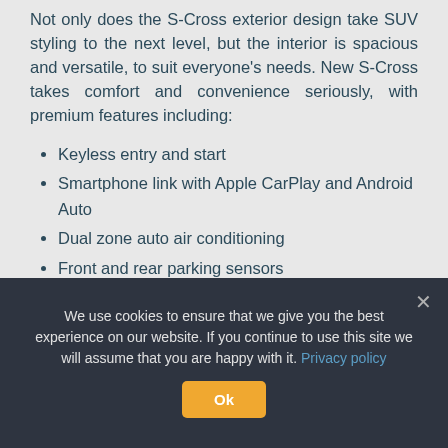Not only does the S-Cross exterior design take SUV styling to the next level, but the interior is spacious and versatile, to suit everyone's needs. New S-Cross takes comfort and convenience seriously, with premium features including:
Keyless entry and start
Smartphone link with Apple CarPlay and Android Auto
Dual zone auto air conditioning
Front and rear parking sensors
7-inch HD infotainment display
Heated front seats
We use cookies to ensure that we give you the best experience on our website. If you continue to use this site we will assume that you are happy with it. Privacy policy